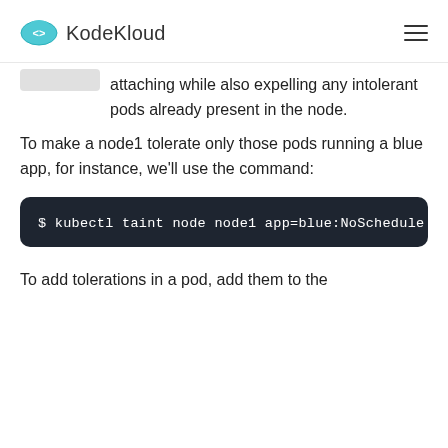KodeKloud
...declines any new pods from attaching while also expelling any intolerant pods already present in the node.
To make a node1 tolerate only those pods running a blue app, for instance, we'll use the command:
$ kubectl taint node node1 app=blue:NoSchedule
To add tolerations in a pod, add them to the